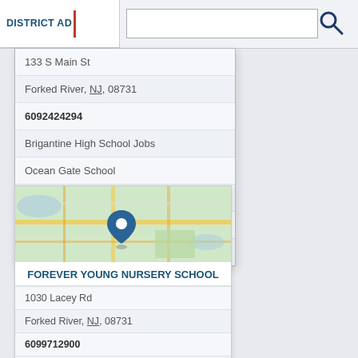DISTRICT AD
133 S Main St
Forked River, NJ, 08731
6092424294
Brigantine High School Jobs
Ocean Gate School
Private Schools K 12
Public High Schools
Public Schools
[Figure (map): Map showing location of Forever Young Nursery School in Forked River, NJ with a blue location pin marker]
FOREVER YOUNG NURSERY SCHOOL
1030 Lacey Rd
Forked River, NJ, 08731
6099712900
Autism Schools
Child Care
Childrens Boutique Shops
Day Care Centers Nurseries